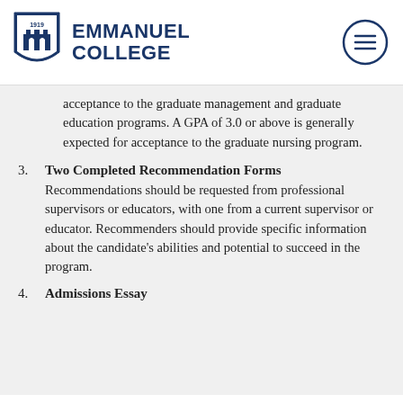[Figure (logo): Emmanuel College shield logo with '1919' text]
EMMANUEL COLLEGE
acceptance to the graduate management and graduate education programs. A GPA of 3.0 or above is generally expected for acceptance to the graduate nursing program.
3. Two Completed Recommendation Forms
Recommendations should be requested from professional supervisors or educators, with one from a current supervisor or educator. Recommenders should provide specific information about the candidate's abilities and potential to succeed in the program.
4. Admissions Essay